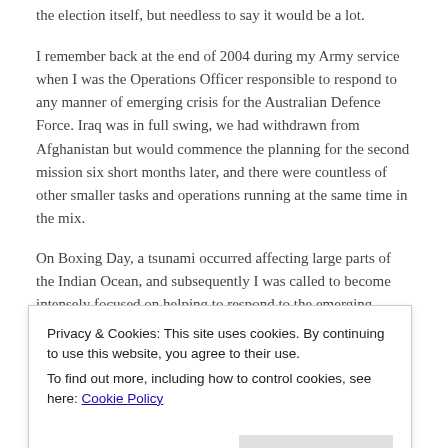the election itself, but needless to say it would be a lot.
I remember back at the end of 2004 during my Army service when I was the Operations Officer responsible to respond to any manner of emerging crisis for the Australian Defence Force. Iraq was in full swing, we had withdrawn from Afghanistan but would commence the planning for the second mission six short months later, and there were countless of other smaller tasks and operations running at the same time in the mix.
On Boxing Day, a tsunami occurred affecting large parts of the Indian Ocean, and subsequently I was called to become intensely focused on helping to respond to the emerging situation. More about the tsunami in another post to come, but suffice to say we cannot really plan for nature.
Privacy & Cookies: This site uses cookies. By continuing to use this website, you agree to their use.
To find out more, including how to control cookies, see here: Cookie Policy
POTUS might have the power at his command to rain Hellfire